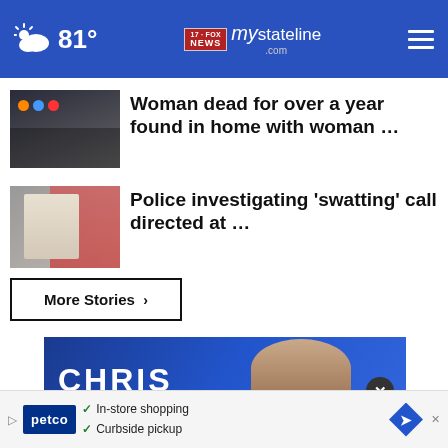81° mystateline.com NEWS
Woman dead for over a year found in home with woman …
Police investigating 'swatting' call directed at …
More Stories ›
[Figure (photo): Chris Cuomo promotional video thumbnail with blue background]
[Figure (photo): Petco advertisement banner: In-store shopping, Curbside pickup]